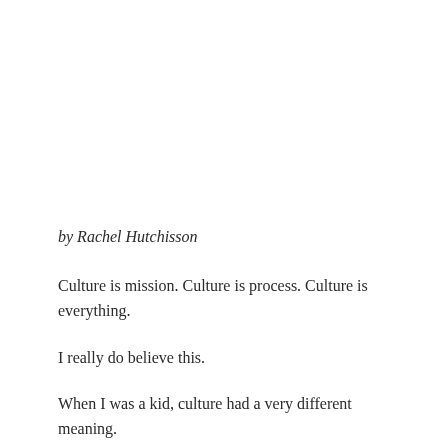by Rachel Hutchisson
Culture is mission. Culture is process. Culture is everything.
I really do believe this.
When I was a kid, culture had a very different meaning.